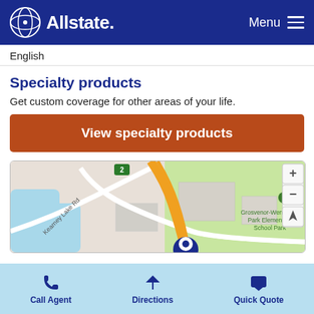Allstate — Menu
English
Specialty products
Get custom coverage for other areas of your life.
View specialty products
[Figure (map): Google-style map showing Kearney Lake Rd area with highway 2, orange roads, blue water, green park areas, and Grosvenor-Wentworth Park Elementary School Park label, with map zoom controls (+, -, navigation arrow) on right side.]
Call Agent   Directions   Quick Quote